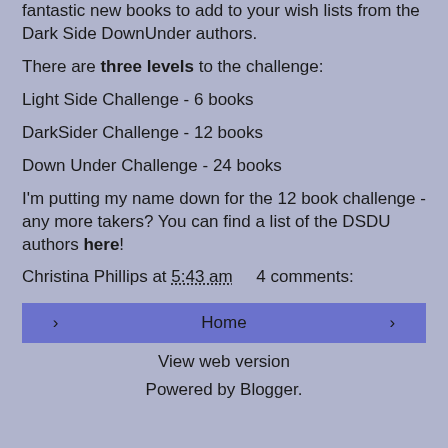fantastic new books to add to your wish lists from the Dark Side DownUnder authors.
There are three levels to the challenge:
Light Side Challenge - 6 books
DarkSider Challenge - 12 books
Down Under Challenge - 24 books
I'm putting my name down for the 12 book challenge - any more takers? You can find a list of the DSDU authors here!
Christina Phillips at 5:43 am    4 comments:
Home
View web version
Powered by Blogger.